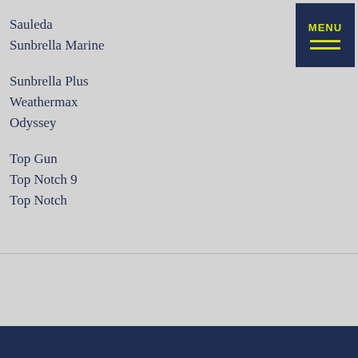Sauleda
Sunbrella Marine
Sunbrella Plus
Weathermax
Odyssey
Top Gun
Top Notch 9
Top Notch